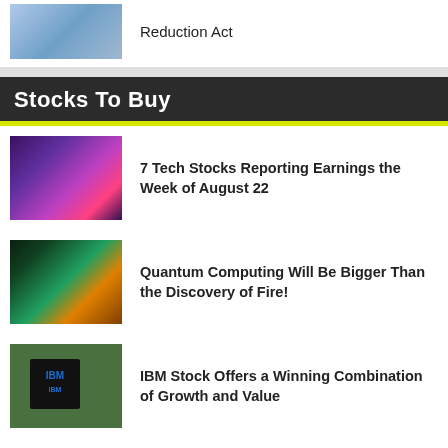[Figure (photo): Hand holding glowing AI/tech object, partial view at top]
Reduction Act
[Figure (photo): Purple/pink tech circuit board glowing digital background]
7 Tech Stocks Reporting Earnings the Week of August 22
[Figure (photo): Quantum computing chip glowing on circuit board]
Quantum Computing Will Be Bigger Than the Discovery of Fire!
[Figure (photo): IBM logo on black cube monument outdoors]
IBM Stock Offers a Winning Combination of Growth and Value
[Figure (photo): Blue glowing stock market data background]
7 Tech Stocks to Buy Before the Bull Market